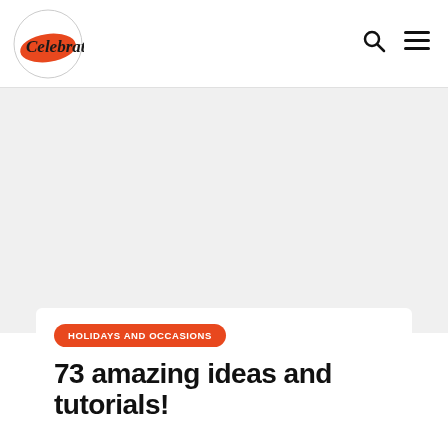Celebrat
[Figure (other): Gray placeholder hero image area]
HOLIDAYS AND OCCASIONS
73 amazing ideas and tutorials!